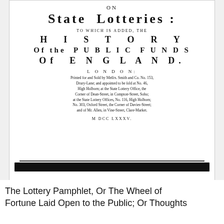ON
State Lotteries:
TO WHICH IS ADDED, THE
HISTORY
Of the PUBLIC FUNDS
Of ENGLAND.
LONDON:
Printed for and Sold by Meſſrs. Smith and Co. No. 153, Drury-Lane; and appointed to be ſold at No. 46, High Holborn; at the State Lottery Office, the Corner of Dean-Street, in Compton-Street, Soho; at the State Lottery Offices, No. 116, High Holborn; No. 303, Oxford Street, the Corner of Davies-Street; and of Mr. Allen, in Vine-Street, Clare-Market.
M DCC LXXXV.
The Lottery Pamphlet, Or The Wheel of Fortune Laid Open to the Public; Or Thoughts